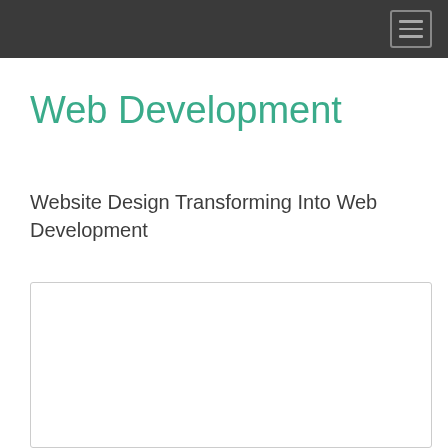Web Development
Website Design Transforming Into Web Development
[Figure (other): Empty white content box with light gray border, representing an image or embedded media placeholder]